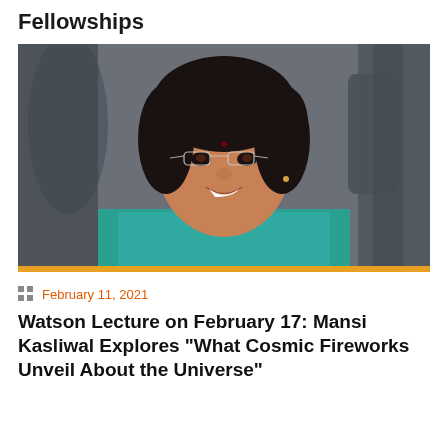Fellowships
[Figure (photo): Portrait photo of Mansi Kasliwal, a woman with dark hair pulled back, wearing glasses and a teal shirt, smiling, photographed in front of industrial/scientific equipment in the background. An orange/gold horizontal bar at the bottom of the image.]
February 11, 2021
Watson Lecture on February 17: Mansi Kasliwal Explores "What Cosmic Fireworks Unveil About the Universe"